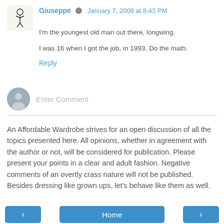Giuseppe · January 7, 2009 at 8:43 PM
I'm the youngest old man out there, longwing.
I was 16 when I got the job, in 1993. Do the math.
Reply
[Figure (other): Enter Comment input field with user avatar placeholder]
An Affordable Wardrobe strives for an open discussion of all the topics presented here. All opinions, whether in agreement with the author or not, will be considered for publication. Please present your points in a clear and adult fashion. Negative comments of an overtly crass nature will not be published. Besides dressing like grown ups, let's behave like them as well.
< Home >